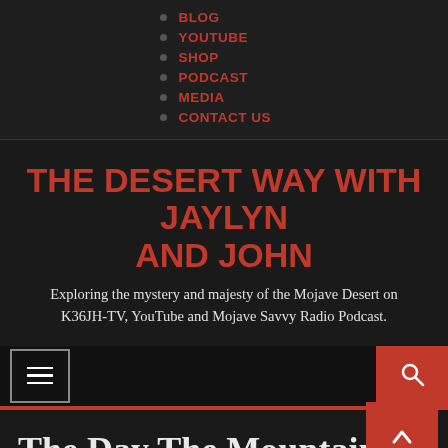BLOG
YOUTUBE
SHOP
PODCAST
MEDIA
CONTACT US
THE DESERT WAY WITH JAYLYN AND JOHN
Exploring the mystery and majesty of the Mojave Desert on K36JH-TV, YouTube and Mojave Savvy Radio Podcast.
[Figure (screenshot): Navigation toolbar with hamburger menu icon on left and red search button on right]
The Day The Mountain Melted